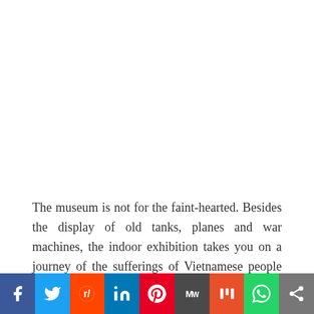The museum is not for the faint-hearted. Besides the display of old tanks, planes and war machines, the indoor exhibition takes you on a journey of the sufferings of Vietnamese people through photographs and written documentation. They might not be able to change your opinion about the war that has been but it can move you to tears. Nevertheless, the War Remnants Museum is one of the most important sites for all the visitors to
[Figure (infographic): Social media sharing buttons bar: Facebook (blue), Twitter (light blue), Reddit (orange-red), LinkedIn (dark blue), Pinterest (red), MeWe (grey), Mix (orange), WhatsApp (green), Share (grey)]